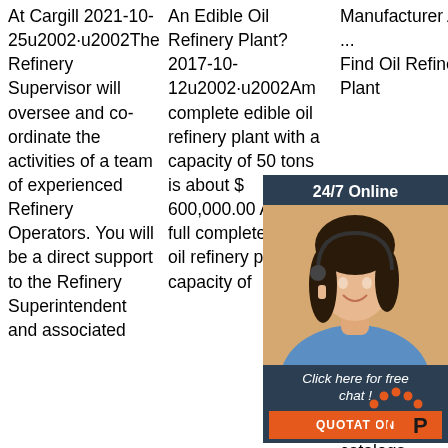At Cargill 2021-10-25u2002·u2002The Refinery Supervisor will oversee and co-ordinate the activities of a team of experienced Refinery Operators. You will be a direct support to the Refinery Superintendent and associated
An Edible Oil Refinery Plant? 2017-10-12u2002·u2002Am complete edible oil refinery plant with a capacity of 50 tons is about $ 600,000.00 And, a full complete edible oil refinery plant with capacity of
Manufacturer And ... Find Oil Refinery Plant ex wh an in - Refinery Plant selling company from Gujarat with catalogs.
[Figure (photo): Customer service representative woman with headset smiling, overlaid on dark blue chat widget with '24/7 Online' header, 'Click here for free chat!' text, and orange QUOTATION button]
[Figure (logo): Orange dots arranged in arc shape with 'TOP' text in orange and black letters forming a logo]